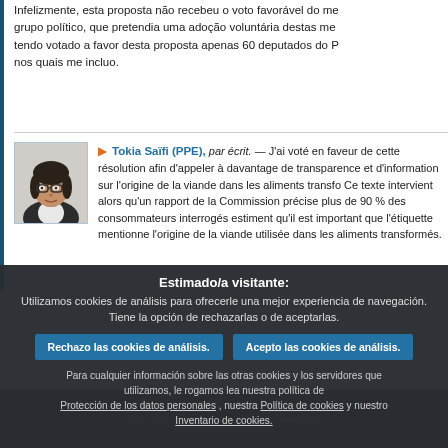Infelizmente, esta proposta não recebeu o voto favorável do meu grupo político, que pretendia uma adoção voluntária destas medidas, tendo votado a favor desta proposta apenas 60 deputados do PPE, nos quais me incluo.
Tokia Saïfi (PPE), par écrit. — J'ai voté en faveur de cette résolution afin d'appeler à davantage de transparence et d'information sur l'origine de la viande dans les aliments transformés. Ce texte intervient alors qu'un rapport de la Commission précise que plus de 90 % des consommateurs interrogés estiment qu'il est important que l'étiquette mentionne l'origine de la viande utilisée dans les aliments transformés.
Estimado/a visitante: Utilizamos cookies de análisis para ofrecerle una mejor experiencia de navegación. Tiene la opción de rechazarlas o de aceptarlas.
Rechazo las cookies de análisis.
Acepto las cookies de análisis.
Para cualquier información sobre las otras cookies y los servidores que utilizamos, le rogamos lea nuestra política de Protección de los datos personales , nuestra Política de cookies y nuestro Inventario de cookies.